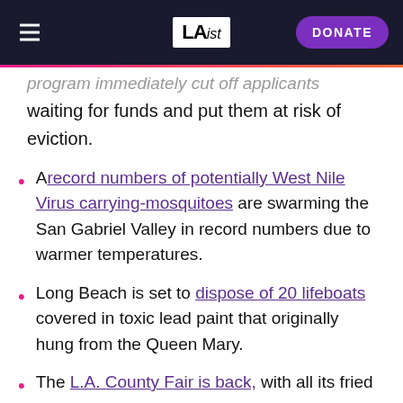LA ist | DONATE
program immediately cut off applicants waiting for funds and put them at risk of eviction.
A record numbers of potentially West Nile Virus carrying-mosquitoes are swarming the San Gabriel Valley in record numbers due to warmer temperatures.
Long Beach is set to dispose of 20 lifeboats covered in toxic lead paint that originally hung from the Queen Mary.
The L.A. County Fair is back, with all its fried